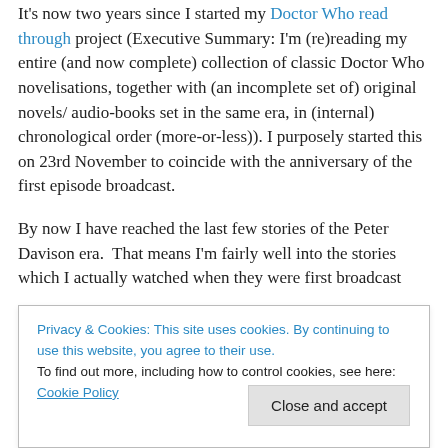It's now two years since I started my Doctor Who read through project (Executive Summary: I'm (re)reading my entire (and now complete) collection of classic Doctor Who novelisations, together with (an incomplete set of) original novels/ audio-books set in the same era, in (internal) chronological order (more-or-less)). I purposely started this on 23rd November to coincide with the anniversary of the first episode broadcast.
By now I have reached the last few stories of the Peter Davison era.  That means I'm fairly well into the stories which I actually watched when they were first broadcast
Tom Baker and I had many gaps in my collection (which
Privacy & Cookies: This site uses cookies. By continuing to use this website, you agree to their use.
To find out more, including how to control cookies, see here: Cookie Policy